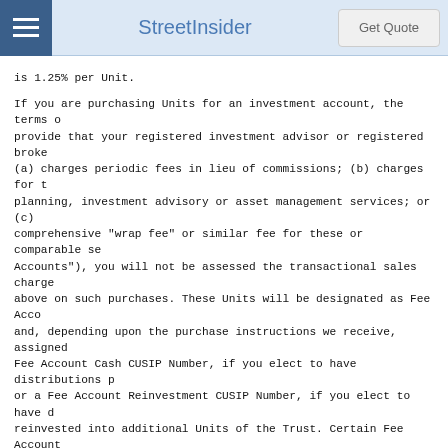StreetInsider  Get Quote
is 1.25% per Unit.
If you are purchasing Units for an investment account, the terms of provide that your registered investment advisor or registered broke (a) charges periodic fees in lieu of commissions; (b) charges for t planning, investment advisory or asset management services; or (c) comprehensive "wrap fee" or similar fee for these or comparable se Accounts"), you will not be assessed the transactional sales charge above on such purchases. These Units will be designated as Fee Acco and, depending upon the purchase instructions we receive, assigned Fee Account Cash CUSIP Number, if you elect to have distributions p or a Fee Account Reinvestment CUSIP Number, if you elect to have d reinvested into additional Units of the Trust. Certain Fee Account holders may be assessed transaction or other account fees on the p and/or redemption of such Units by their registered investment adv broker/dealer or other processing organizations for providing cert transaction or account activities. Fee Account Units are not availa purchase in the secondary market. We reserve the right to limit o purchases of Units not subject to the transactional sales charge b whose frequent trading activity we determine to be detrimental to t
Employees, officers and directors (and immediate family members) o Sponsor, our related companies, and dealers and their affiliates w